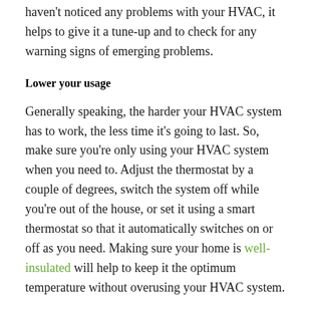haven't noticed any problems with your HVAC, it helps to give it a tune-up and to check for any warning signs of emerging problems.
Lower your usage
Generally speaking, the harder your HVAC system has to work, the less time it's going to last. So, make sure you're only using your HVAC system when you need to. Adjust the thermostat by a couple of degrees, switch the system off while you're out of the house, or set it using a smart thermostat so that it automatically switches on or off as you need. Making sure your home is well-insulated will help to keep it the optimum temperature without overusing your HVAC system.